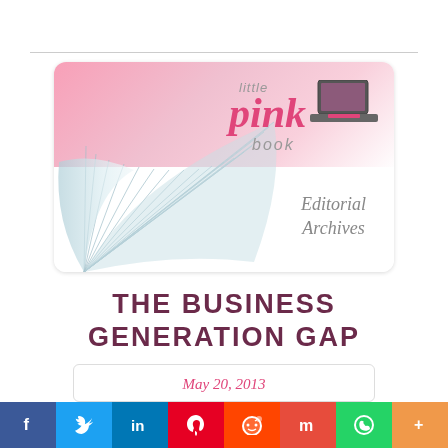[Figure (logo): Little Pink Book Editorial Archives logo — pink gradient card with illustrated open book pages and a laptop icon, cursive 'Editorial Archives' text]
THE BUSINESS GENERATION GAP
May 20, 2013
Business Articles, Sales & Communications
[Figure (infographic): Social media sharing bar with icons for Facebook, Twitter, LinkedIn, Pinterest, Reddit, Mix, WhatsApp, and More (+)]